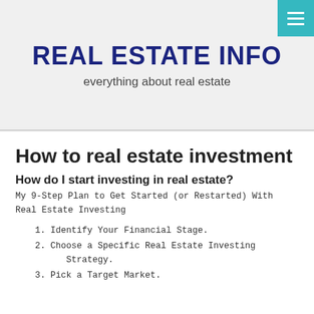REAL ESTATE INFO
everything about real estate
How to real estate investment
How do I start investing in real estate?
My 9-Step Plan to Get Started (or Restarted) With Real Estate Investing
1. Identify Your Financial Stage.
2. Choose a Specific Real Estate Investing Strategy.
3. Pick a Target Market.